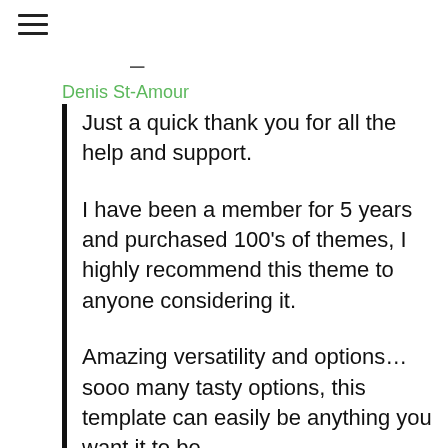≡
Denis St-Amour
Just a quick thank you for all the help and support.

I have been a member for 5 years and purchased 100's of themes, I highly recommend this theme to anyone considering it.

Amazing versatility and options... sooo many tasty options, this template can easily be anything you want it to be,
wrap this up in a coating of